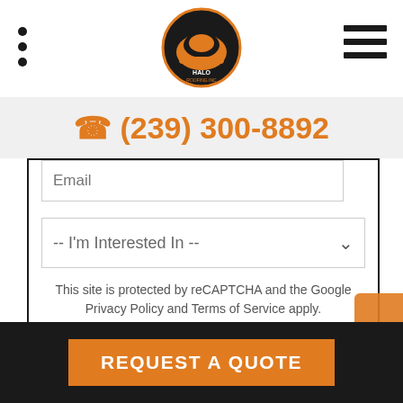[Figure (logo): Halo Roofing Inc logo — circular badge with orange and black helmet graphic]
(239) 300-8892
[Figure (screenshot): Email input field partially visible]
[Figure (screenshot): Dropdown select: -- I'm Interested In --]
This site is protected by reCAPTCHA and the Google Privacy Policy and Terms of Service apply.
SUBMIT
REQUEST A QUOTE